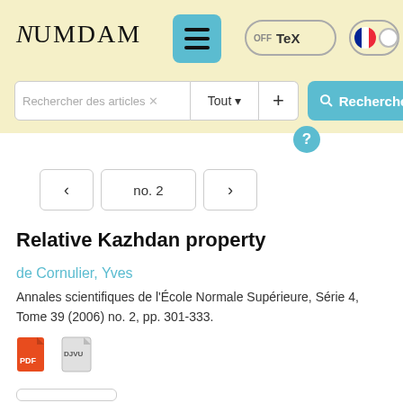NUMDAM
Rechercher des articles  Tout  +  Rechercher
no. 2
Relative Kazhdan property
de Cornulier, Yves
Annales scientifiques de l'École Normale Supérieure, Série 4, Tome 39 (2006) no. 2, pp. 301-333.
[Figure (other): PDF and DJVU file format icons]